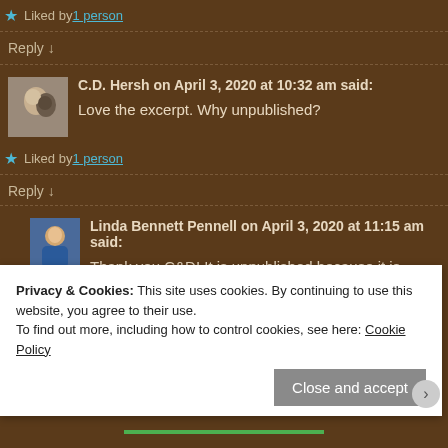★ Liked by 1 person
Reply ↓
C.D. Hersh on April 3, 2020 at 10:32 am said:
Love the excerpt. Why unpublished?
★ Liked by 1 person
Reply ↓
Linda Bennett Pennell on April 3, 2020 at 11:15 am said:
Thank you C&D! It is unpublished because it is 100,000 wor... and I look at it and just sigh. Thank you for asking, though. I... editing something that long that needs a lot of work daunting!
Privacy & Cookies: This site uses cookies. By continuing to use this website, you agree to their use.
To find out more, including how to control cookies, see here: Cookie Policy
Close and accept